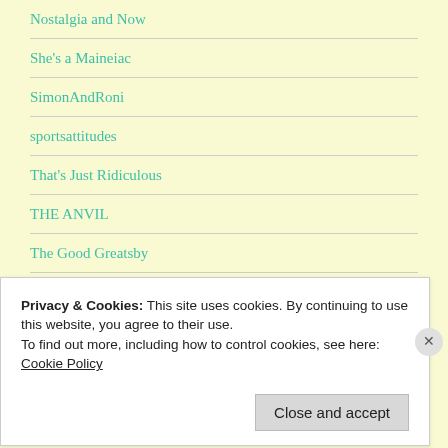Nostalgia and Now
She's a Maineiac
SimonAndRoni
sportsattitudes
That's Just Ridiculous
THE ANVIL
The Good Greatsby
The Problem with Young People Today Is...
Privacy & Cookies: This site uses cookies. By continuing to use this website, you agree to their use.
To find out more, including how to control cookies, see here:
Cookie Policy
Close and accept